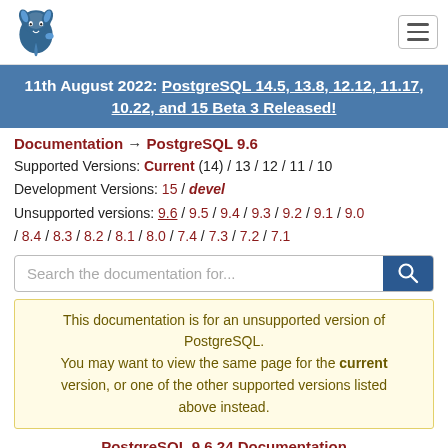PostgreSQL logo and navigation bar
11th August 2022: PostgreSQL 14.5, 13.8, 12.12, 11.17, 10.22, and 15 Beta 3 Released!
Documentation → PostgreSQL 9.6
Supported Versions: Current (14) / 13 / 12 / 11 / 10
Development Versions: 15 / devel
Unsupported versions: 9.6 / 9.5 / 9.4 / 9.3 / 9.2 / 9.1 / 9.0 / 8.4 / 8.3 / 8.2 / 8.1 / 8.0 / 7.4 / 7.3 / 7.2 / 7.1
Search the documentation for...
This documentation is for an unsupported version of PostgreSQL. You may want to view the same page for the current version, or one of the other supported versions listed above instead.
PostgreSQL 9.6.24 Documentation
Prev  Up  Next